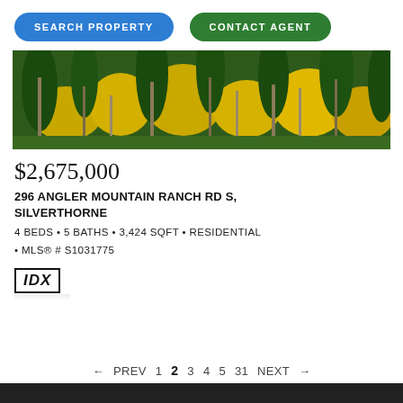SEARCH PROPERTY
CONTACT AGENT
[Figure (photo): Panoramic forest photograph showing aspen trees with yellow autumn foliage mixed with green evergreen trees]
$2,675,000
296 ANGLER MOUNTAIN RANCH RD S, SILVERTHORNE
4 BEDS • 5 BATHS • 3,424 SQFT • RESIDENTIAL • MLS® # S1031775
[Figure (logo): IDX logo in bold italic text inside a black border rectangle]
← PREV  1  2  3  4  5  31  NEXT →